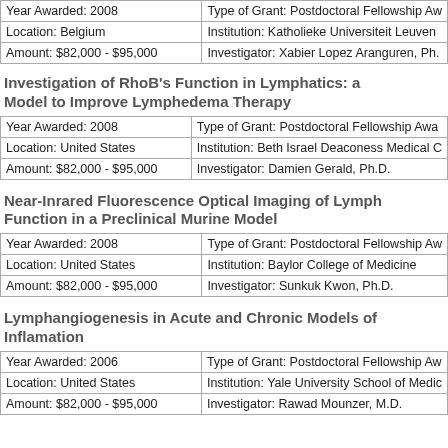| Year Awarded: 2008 | Type of Grant: Postdoctoral Fellowship Aw... |
| Location: Belgium | Institution: Katholieke Universiteit Leuven |
| Amount: $82,000 - $95,000 | Investigator: Xabier Lopez Aranguren, Ph.... |
Investigation of RhoB's Function in Lymphatics: a Model to Improve Lymphedema Therapy
| Year Awarded: 2008 | Type of Grant: Postdoctoral Fellowship Awa... |
| Location: United States | Institution: Beth Israel Deaconess Medical C... |
| Amount: $82,000 - $95,000 | Investigator: Damien Gerald, Ph.D. |
Near-Inrared Fluorescence Optical Imaging of Lymph Function in a Preclinical Murine Model
| Year Awarded: 2008 | Type of Grant: Postdoctoral Fellowship Aw... |
| Location: United States | Institution: Baylor College of Medicine |
| Amount: $82,000 - $95,000 | Investigator: Sunkuk Kwon, Ph.D. |
Lymphangiogenesis in Acute and Chronic Models of Inflamation
| Year Awarded: 2006 | Type of Grant: Postdoctoral Fellowship Aw... |
| Location: United States | Institution: Yale University School of Medic... |
| Amount: $82,000 - $95,000 | Investigator: Rawad Mounzer, M.D. |